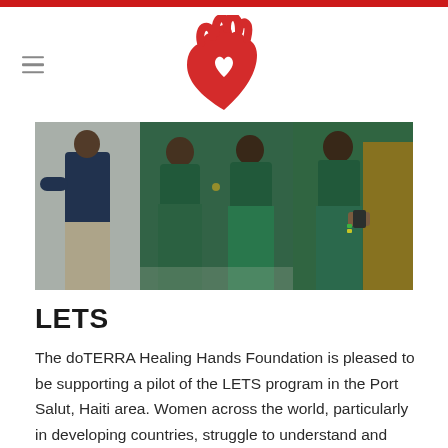[Figure (logo): doTERRA Healing Hands Foundation logo — red hand with heart cutout in palm]
[Figure (photo): Group of women in green uniforms/skirts standing together, one holding a phone, in what appears to be an outdoor gathering in Haiti]
LETS
The doTERRA Healing Hands Foundation is pleased to be supporting a pilot of the LETS program in the Port Salut, Haiti area. Women across the world, particularly in developing countries, struggle to understand and manage their menstruation and fertility. LETS is a revolutionary education initiative encourages men,